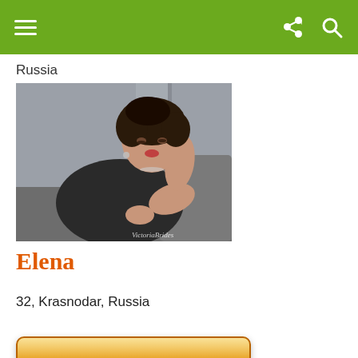Navigation bar with menu, share, and search icons
Russia
[Figure (photo): Young woman with curly dark hair wearing a black sleeveless top, reclining on a grey sofa, looking at camera. Watermark reads 'VictoriaBrides'.]
Elena
32, Krasnodar, Russia
Contact Me